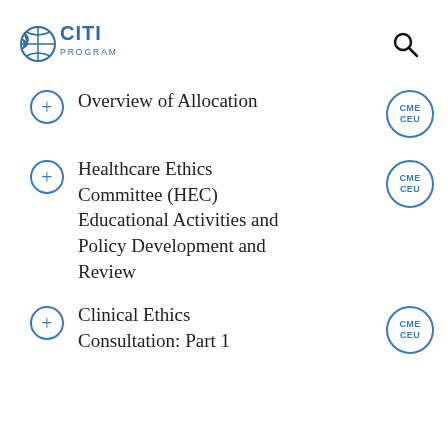[Figure (logo): CITI Program logo with globe icon and text 'CITI PROGRAM']
Overview of Allocation [CME CEU badge]
Healthcare Ethics Committee (HEC) Educational Activities and Policy Development and Review [CME CEU badge]
Clinical Ethics Consultation: Part 1 [CME CEU badge]